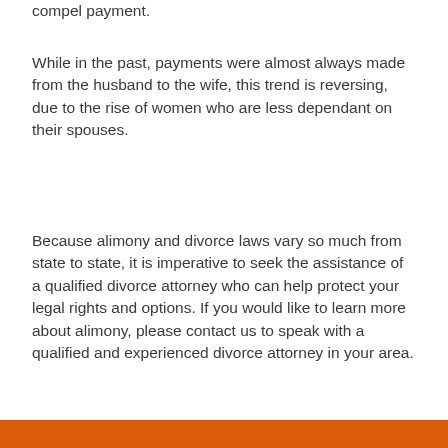compel payment.
While in the past, payments were almost always made from the husband to the wife, this trend is reversing, due to the rise of women who are less dependant on their spouses.
Because alimony and divorce laws vary so much from state to state, it is imperative to seek the assistance of a qualified divorce attorney who can help protect your legal rights and options. If you would like to learn more about alimony, please contact us to speak with a qualified and experienced divorce attorney in your area.